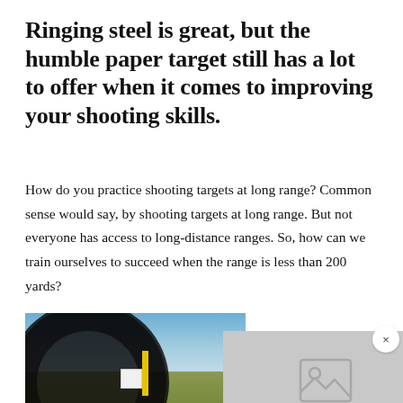Ringing steel is great, but the humble paper target still has a lot to offer when it comes to improving your shooting skills.
How do you practice shooting targets at long range? Common sense would say, by shooting targets at long range. But not everyone has access to long-distance ranges. So, how can we train ourselves to succeed when the range is less than 200 yards?
[Figure (photo): Photo viewed through a rifle scope showing an open prairie field with yellow post and white target at distance, blue sky with light clouds. Right half shows a gray placeholder image panel with image icon.]